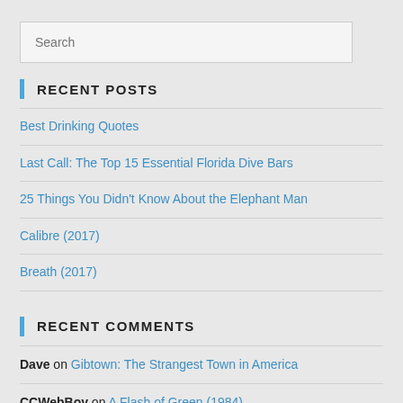Search
RECENT POSTS
Best Drinking Quotes
Last Call: The Top 15 Essential Florida Dive Bars
25 Things You Didn't Know About the Elephant Man
Calibre (2017)
Breath (2017)
RECENT COMMENTS
Dave on Gibtown: The Strangest Town in America
CCWebBoy on A Flash of Green (1984)